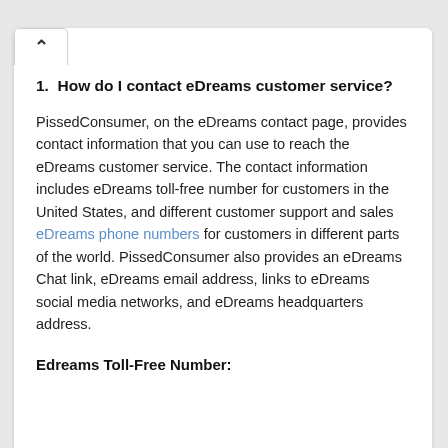1.  How do I contact eDreams customer service?
PissedConsumer, on the eDreams contact page, provides contact information that you can use to reach the eDreams customer service. The contact information includes eDreams toll-free number for customers in the United States, and different customer support and sales eDreams phone numbers for customers in different parts of the world. PissedConsumer also provides an eDreams Chat link, eDreams email address, links to eDreams social media networks, and eDreams headquarters address.
Edreams Toll-Free Number: